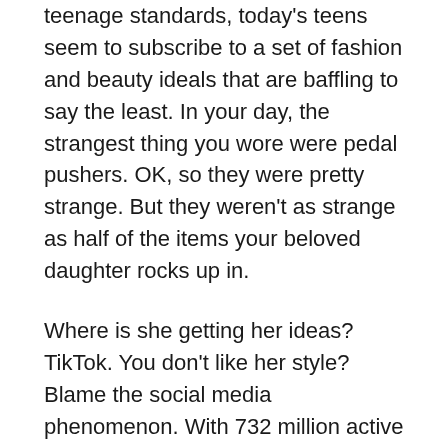teenage standards, today's teens seem to subscribe to a set of fashion and beauty ideals that are baffling to say the least. In your day, the strangest thing you wore were pedal pushers. OK, so they were pretty strange. But they weren't as strange as half of the items your beloved daughter rocks up in.
Where is she getting her ideas? TikTok. You don't like her style? Blame the social media phenomenon. With 732 million active users and counting every month, it has already infiltrated your teen's wardrobe. Read on to find out how...
She keeps asking if you have anything 'Y2K'
Why two what? Not for the first time, your daughter is speaking in tongues. Apparently Y2K is their term for